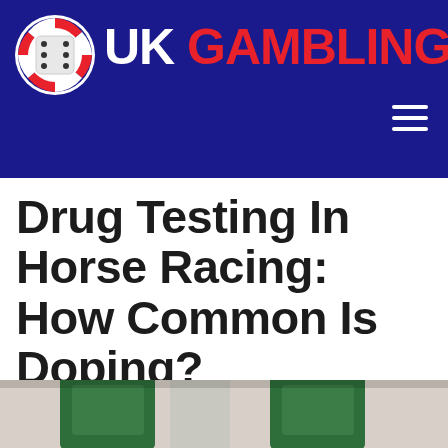UK GAMBLING SITES
Drug Testing In Horse Racing: How Common Is Doping?
[Figure (photo): Bottom portion of a photo showing green medical/laboratory bottles or vials on a light surface, partially visible at the bottom of the page]